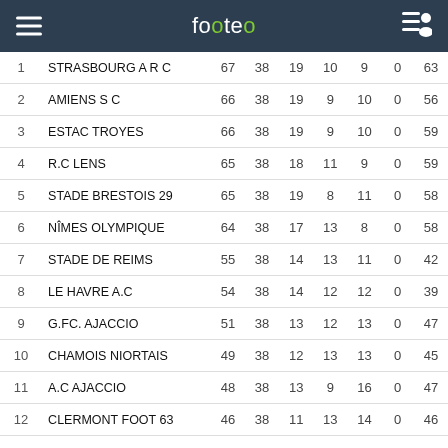footeo
| # | Team | Pts | J | G | N | P | Fo | Bp |
| --- | --- | --- | --- | --- | --- | --- | --- | --- |
| 1 | STRASBOURG A R C | 67 | 38 | 19 | 10 | 9 | 0 | 63 |
| 2 | AMIENS S C | 66 | 38 | 19 | 9 | 10 | 0 | 56 |
| 3 | ESTAC TROYES | 66 | 38 | 19 | 9 | 10 | 0 | 59 |
| 4 | R.C LENS | 65 | 38 | 18 | 11 | 9 | 0 | 59 |
| 5 | STADE BRESTOIS 29 | 65 | 38 | 19 | 8 | 11 | 0 | 58 |
| 6 | NÎMES OLYMPIQUE | 64 | 38 | 17 | 13 | 8 | 0 | 58 |
| 7 | STADE DE REIMS | 55 | 38 | 14 | 13 | 11 | 0 | 42 |
| 8 | LE HAVRE A.C | 54 | 38 | 14 | 12 | 12 | 0 | 39 |
| 9 | G.FC. AJACCIO | 51 | 38 | 13 | 12 | 13 | 0 | 47 |
| 10 | CHAMOIS NIORTAIS | 49 | 38 | 12 | 13 | 13 | 0 | 45 |
| 11 | A.C AJACCIO | 48 | 38 | 13 | 9 | 16 | 0 | 47 |
| 12 | CLERMONT FOOT 63 | 46 | 38 | 11 | 13 | 14 | 0 | 46 |